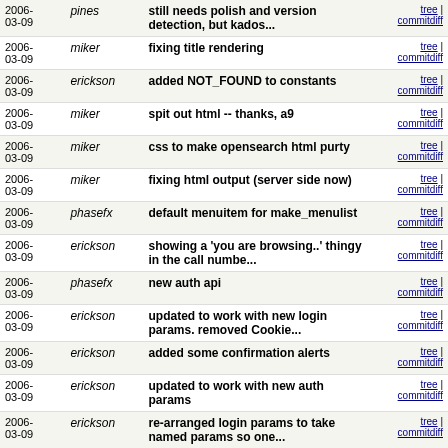| Date | Author | Message | Links |
| --- | --- | --- | --- |
| 2006-03-09 | pines | still needs polish and version detection, but kados... | tree | commitdiff |
| 2006-03-09 | miker | fixing title rendering | tree | commitdiff |
| 2006-03-09 | erickson | added NOT_FOUND to constants | tree | commitdiff |
| 2006-03-09 | miker | spit out html -- thanks, a9 | tree | commitdiff |
| 2006-03-09 | miker | css to make opensearch html purty | tree | commitdiff |
| 2006-03-09 | miker | fixing html output (server side now) | tree | commitdiff |
| 2006-03-09 | phasefx | default menuitem for make_menulist | tree | commitdiff |
| 2006-03-09 | erickson | showing a 'you are browsing..' thingy in the call numbe... | tree | commitdiff |
| 2006-03-09 | phasefx | new auth api | tree | commitdiff |
| 2006-03-09 | erickson | updated to work with new login params. removed Cookie... | tree | commitdiff |
| 2006-03-09 | erickson | added some confirmation alerts | tree | commitdiff |
| 2006-03-09 | erickson | updated to work with new auth params | tree | commitdiff |
| 2006-03-09 | erickson | re-arranged login params to take named params so one... | tree | commitdiff |
| 2006-03-09 | miker | initial commit for data about content of... | tree | commitdiff |